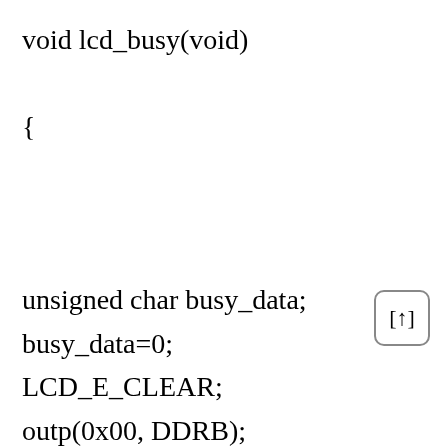void lcd_busy(void)

{



unsigned char busy_data;
busy_data=0;
LCD_E_CLEAR;
outp(0x00, DDRB);